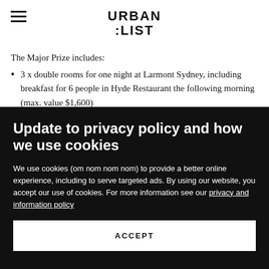URBAN LIST
The Major Prize includes:
3 x double rooms for one night at Larmont Sydney, including breakfast for 6 people in Hyde Restaurant the following morning (max. value $1,600)
Update to privacy policy and how we use cookies
We use cookies (om nom nom nom) to provide a better online experience, including to serve targeted ads. By using our website, you accept our use of cookies. For more information see our privacy and information policy
ACCEPT